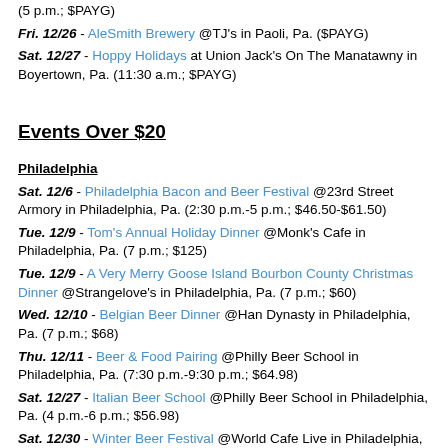(5 p.m.; $PAYG)
Fri. 12/26 - AleSmith Brewery @TJ's in Paoli, Pa. ($PAYG)
Sat. 12/27 - Hoppy Holidays at Union Jack's On The Manatawny in Boyertown, Pa. (11:30 a.m.; $PAYG)
Events Over $20
Philadelphia
Sat. 12/6 - Philadelphia Bacon and Beer Festival @23rd Street Armory in Philadelphia, Pa. (2:30 p.m.-5 p.m.; $46.50-$61.50)
Tue. 12/9 - Tom's Annual Holiday Dinner @Monk's Cafe in Philadelphia, Pa. (7 p.m.; $125)
Tue. 12/9 - A Very Merry Goose Island Bourbon County Christmas Dinner @Strangelove's in Philadelphia, Pa. (7 p.m.; $60)
Wed. 12/10 - Belgian Beer Dinner @Han Dynasty in Philadelphia, Pa. (7 p.m.; $68)
Thu. 12/11 - Beer & Food Pairing @Philly Beer School in Philadelphia, Pa. (7:30 p.m.-9:30 p.m.; $64.98)
Sat. 12/27 - Italian Beer School @Philly Beer School in Philadelphia, Pa. (4 p.m.-6 p.m.; $56.98)